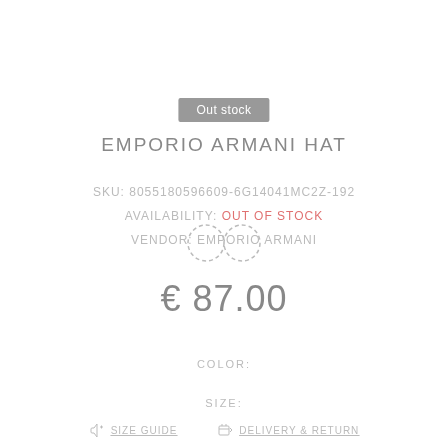Out stock
EMPORIO ARMANI HAT
SKU: 8055180596609-6G14041MC2Z-192
AVAILABILITY: Out of Stock
VENDOR: EMPORIO ARMANI
[Figure (illustration): Dashed infinity symbol watermark overlapping vendor line]
€ 87.00
COLOR:
SIZE:
SIZE GUIDE   DELIVERY & RETURN